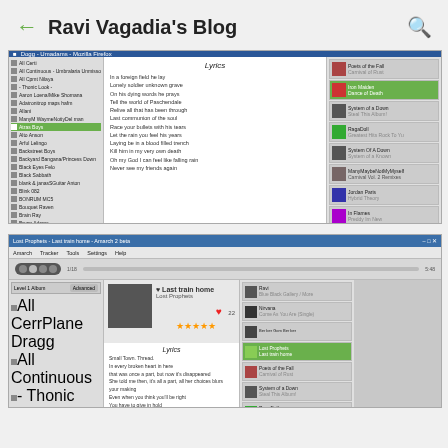Ravi Vagadia's Blog
[Figure (screenshot): Screenshot of a music player (Winamp or similar) showing Iron Maiden - Paschendale lyrics panel, with playlist on the left, lyrics in the center showing lines like 'In a foreign field he lay', 'Lonely soldier unknown grave', etc., and album list on the right. Taskbar at bottom shows Iron Maiden - Paschendale - amarch 2 beta, time 9:04 am.]
[Figure (screenshot): Screenshot of Lost Prophets - Last train home music player window showing playlist on left, album art and song info in center with Last train home / Lost Prophets text and star rating, lyrics panel below with text starting 'Small town. Thread.', and playlist on the right with items including Ravi, Nirvana Come As You Are, Lost Prophets highlighted in green, Poets of the Fall, System of a Down, etc.]